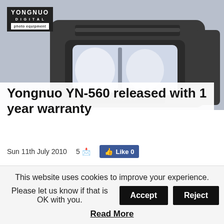[Figure (photo): Close-up photo of a Yongnuo YN-560 Speedlite camera flash unit against a light grey/blue background, with Yongnuo Digital branding visible top-left]
Yongnuo YN-560 released with 1 year warranty
Sun 11th July 2010   5 🗩   Like 0
The Yongnuo YN-560 flashgun is now available for $85.99 from the official eBay outlet, including a 1 year warranty.
This website uses cookies to improve your experience. Please let us know if that is OK with you.
Read More